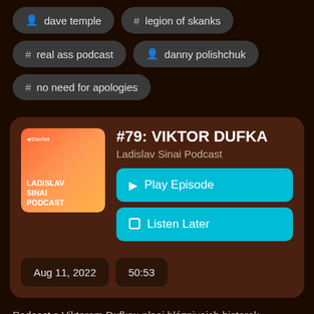dave temple
# legion of skanks
# real ass podcast
danny polishchuk
# no need for apologies
#79: VIKTOR DUFKA
Ladislav Sinai Podcast
▶ Play Episode
Listen Later
Aug 11, 2022
50:53
Podcast s Viktorem Dufkou plnej bláznivejch historek,